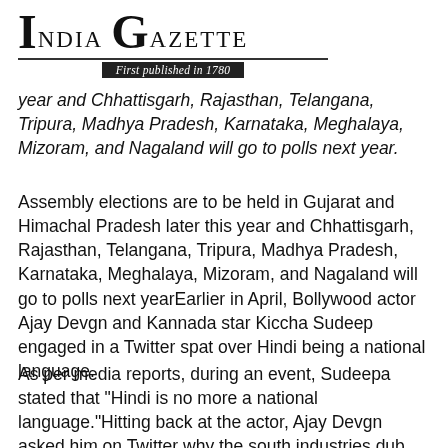India Gazette — First published in 1780
year and Chhattisgarh, Rajasthan, Telangana, Tripura, Madhya Pradesh, Karnataka, Meghalaya, Mizoram, and Nagaland will go to polls next year.
Assembly elections are to be held in Gujarat and Himachal Pradesh later this year and Chhattisgarh, Rajasthan, Telangana, Tripura, Madhya Pradesh, Karnataka, Meghalaya, Mizoram, and Nagaland will go to polls next yearEarlier in April, Bollywood actor Ajay Devgn and Kannada star Kiccha Sudeep engaged in a Twitter spat over Hindi being a national language.
As per media reports, during an event, Sudeepa stated that "Hindi is no more a national language."Hitting back at the actor, Ajay Devgn asked him on Twitter why the south industries dub